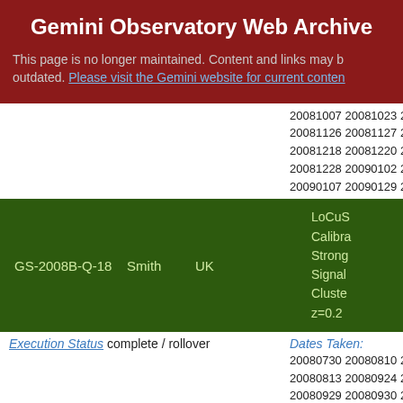Gemini Observatory Web Archive
This page is no longer maintained. Content and links may be outdated. Please visit the Gemini website for current content
20081007 20081023 20081... 20081126 20081127 20081... 20081218 20081220 20081... 20081228 20090102 20090... 20090107 20090129 20090...
| GS-2008B-Q-18 | Smith | UK | LoCuS Calibra Strong Signal Cluste z=0.2 |
Execution Status complete / rollover
Dates Taken: 20080730 20080810 20080... 20080813 20080924 20080... 20080929 20080930 20081... 20081022 20081023 20081...